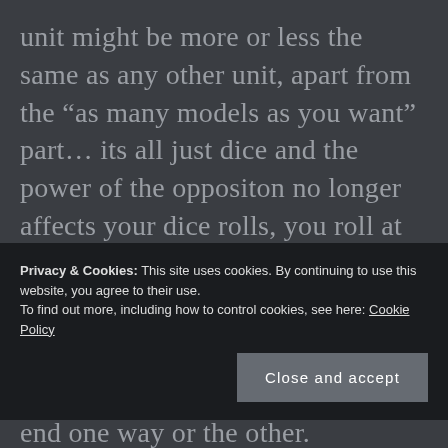unit might be more or less the same as any other unit, apart from the “as many models as you want” part… its all just dice and the power of the oppositon no longer affects your dice rolls, you roll at the same value no matter what you are attacking.
Oh well. Everything will work itself out and settle down in the end one way or the other.
Privacy & Cookies: This site uses cookies. By continuing to use this website, you agree to their use.
To find out more, including how to control cookies, see here: Cookie Policy
Close and accept